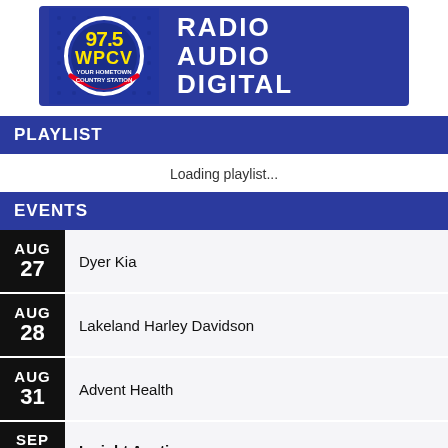[Figure (logo): 97.5 WPCV Your Hometown Country Station radio logo with blue background and text RADIO AUDIO DIGITAL]
PLAYLIST
Loading playlist...
EVENTS
AUG 27 - Dyer Kia
AUG 28 - Lakeland Harley Davidson
AUG 31 - Advent Health
SEP 8 - Insight Auctioneers